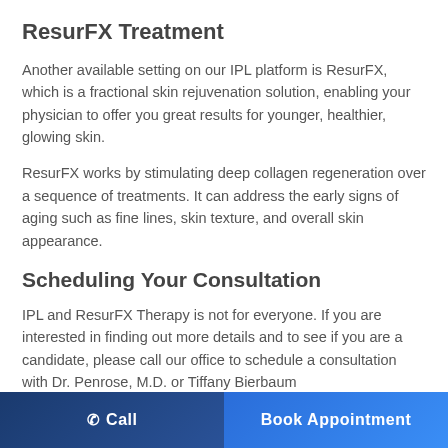ResurFX Treatment
Another available setting on our IPL platform is ResurFX, which is a fractional skin rejuvenation solution, enabling your physician to offer you great results for younger, healthier, glowing skin.
ResurFX works by stimulating deep collagen regeneration over a sequence of treatments. It can address the early signs of aging such as fine lines, skin texture, and overall skin appearance.
Scheduling Your Consultation
IPL and ResurFX Therapy is not for everyone. If you are interested in finding out more details and to see if you are a candidate, please call our office to schedule a consultation with Dr. Penrose, M.D. or Tiffany Bierbaum
Call | Book Appointment